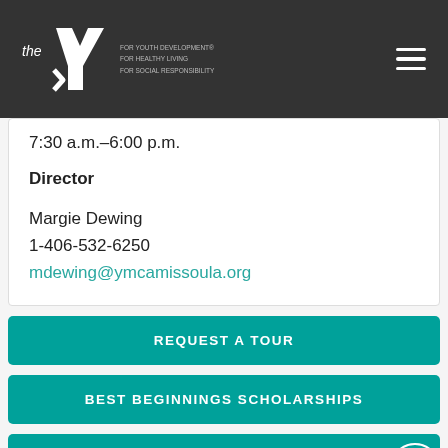the Y - FOR YOUTH DEVELOPMENT, FOR HEALTHY LIVING, FOR SOCIAL RESPONSIBILITY
7:30 a.m.–6:00 p.m.
Director
Margie Dewing
1-406-532-6250
mdewing@ymcamissoula.org
REQUEST A TOUR
BEST BEGINNINGS SCHOLARSHIPS
BECOME A Y MEMBER
FINANCIAL ASSISTANCE